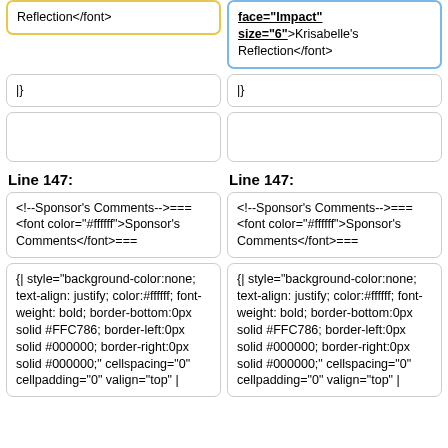Reflection</font>
face="Impact" size="6">Krisabelle's Reflection</font>
|}
|}
Line 147:
Line 147:
<!--Sponsor's Comments-->===
<font color="#ffffff">Sponsor's Comments</font>===
<!--Sponsor's Comments-->===
<font color="#ffffff">Sponsor's Comments</font>===
{| style="background-color:none; text-align: justify; color:#ffffff; font-weight: bold; border-bottom:0px solid #FFC786; border-left:0px solid #000000; border-right:0px solid #000000;" cellspacing="0" cellpadding="0" valign="top" |
{| style="background-color:none; text-align: justify; color:#ffffff; font-weight: bold; border-bottom:0px solid #FFC786; border-left:0px solid #000000; border-right:0px solid #000000;" cellspacing="0" cellpadding="0" valign="top" |